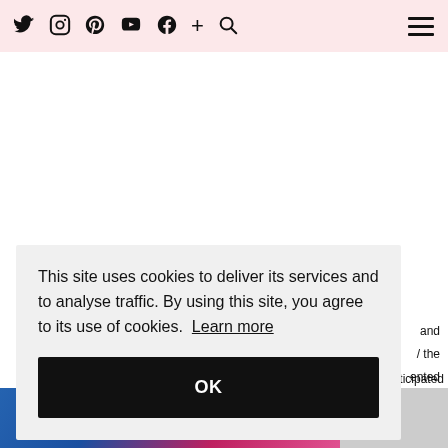Twitter Instagram Pinterest YouTube Facebook + Search [menu]
This site uses cookies to deliver its services and to analyse traffic. By using this site, you agree to its use of cookies. Learn more
OK
and / the ented ames Too much anticipated
[Figure (screenshot): Bottom strip showing a book cover with colorful gradient background and text 'SAVE ME']